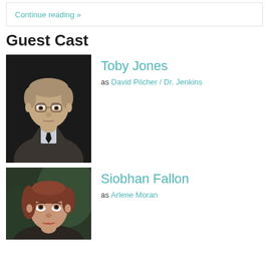Continue reading »
Guest Cast
[Figure (photo): Photo of Toby Jones, a man in a tweed jacket and dark tie, stern expression, against dark background]
Toby Jones
as David Pilcher / Dr. Jenkins
[Figure (photo): Photo of Siobhan Fallon, a woman with reddish-brown hair, looking upward, against green-tinted background]
Siobhan Fallon
as Arlene Moran